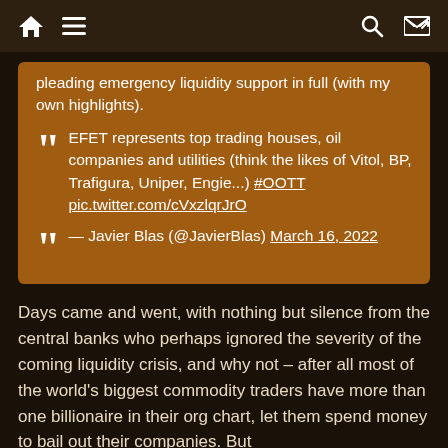Home | Menu | Search | Shuffle
pleading emergency liquidity support in full (with my own highlights).
EFET represents top trading houses, oil companies and utilities (think the likes of Vitol, BP, Trafigura, Uniper, Engie...) #OOTT pic.twitter.com/cVxzlqrJrO
— Javier Blas (@JavierBlas) March 16, 2022
Days came and went, with nothing but silence from the central banks who perhaps ignored the severity of the coming liquidity crisis, and why not – after all most of the world's biggest commodity traders have more than one billionaire in their org chart, let them spend money to bail out their companies. But